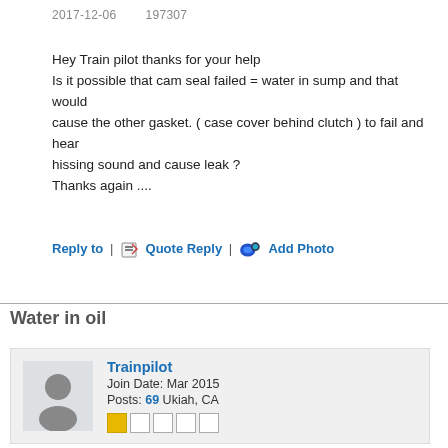2017-12-06        197307
Hey Train pilot thanks for your help
Is it possible that cam seal failed = water in sump and that would cause the other gasket. ( case cover behind clutch ) to fail and hear hissing sound and cause leak ?
Thanks again ....
Reply to | Quote Reply | Add Photo
Water in oil
Trainpilot
Join Date: Mar 2015
Posts: 69 Ukiah, CA
2017-12-06        197310
Yes, I think it likely now that it is the seal on the inside of the water pump. I looked at one of our engines and there is no air gap between the pump and the crankcase. So if the seal leaks, it will leak coolant